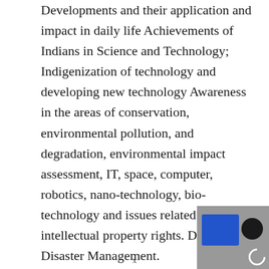Developments and their application and impact in daily life Achievements of Indians in Science and Technology; Indigenization of technology and developing new technology Awareness in the areas of conservation, environmental pollution, and degradation, environmental impact assessment, IT, space, computer, robotics, nano-technology, bio-technology and issues related to intellectual property rights. Disaster and Disaster Management.
Ethics and the Human Interface: